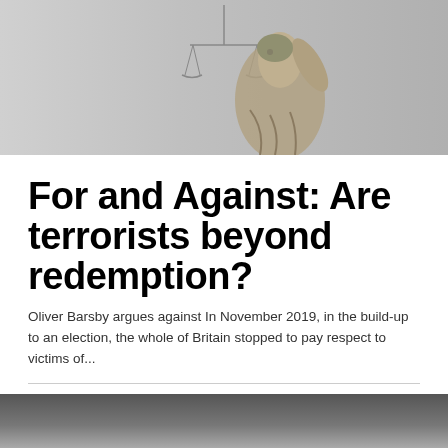[Figure (photo): A silver Lady Justice statue holding scales, photographed against a light grey background, cropped at the top of the page.]
For and Against: Are terrorists beyond redemption?
Oliver Barsby argues against In November 2019, in the build-up to an election, the whole of Britain stopped to pay respect to victims of...
[Figure (photo): Dark image with a circular shape visible at the bottom, partially cropped, dark grey gradient background.]